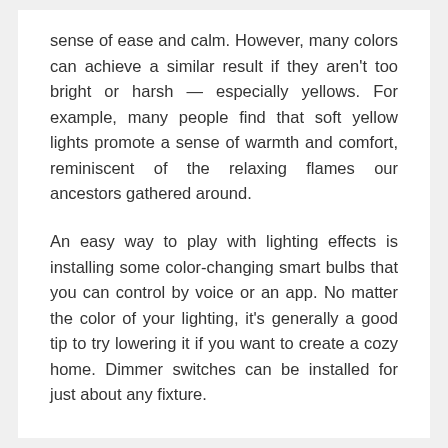sense of ease and calm. However, many colors can achieve a similar result if they aren't too bright or harsh — especially yellows. For example, many people find that soft yellow lights promote a sense of warmth and comfort, reminiscent of the relaxing flames our ancestors gathered around.
An easy way to play with lighting effects is installing some color-changing smart bulbs that you can control by voice or an app. No matter the color of your lighting, it's generally a good tip to try lowering it if you want to create a cozy home. Dimmer switches can be installed for just about any fixture.